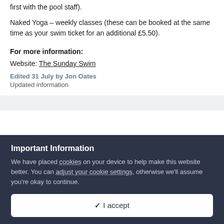first with the pool staff).
Naked Yoga – weekly classes (these can be booked at the same time as your swim ticket for an additional £5.50).
For more information:
Website: The Sunday Swim
Edited 31 July by Jon Oates
Updated information
Important Information
We have placed cookies on your device to help make this website better. You can adjust your cookie settings, otherwise we'll assume you're okay to continue.
I accept